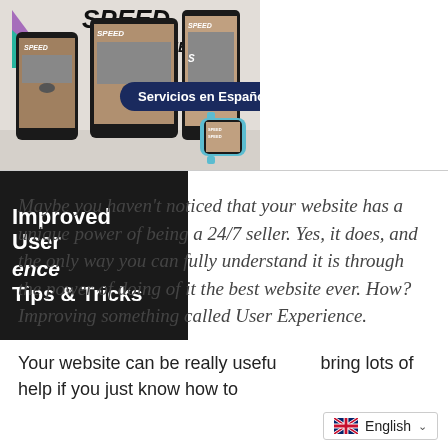[Figure (infographic): Banner showing multiple devices (smartphone, tablet, laptop) with Speed-branded automotive magazine covers on screens, a triangular logo with '7 SPEED' text, and a dark right panel. A 'Servicios en Español' button overlays the center.]
Improved User Experience Tips & Tricks
Maybe you haven't noticed that your website has a unique power of being a 24/7 seller. Yes, it does, and the only way you can fully understand it is through the power of doing of it the best website ever. How? Improving something called User Experience.
Your website can be really useful and bring lots of help if you just know how to